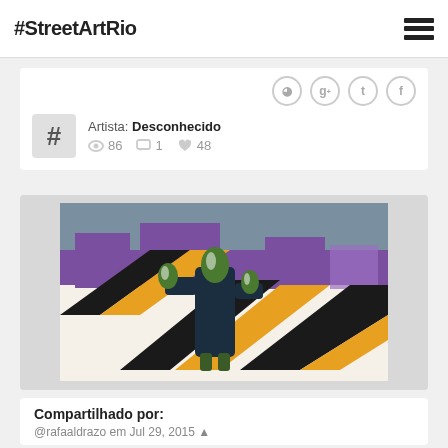#StreetArtRio
Artista: Desconhecido — 86 views, 1 comment, 48 likes
[Figure (photo): Painting of a green cactus figure with dark body on a background of purple, black, and yellow diagonal stripes]
Compartilhado por:
@rafaaldrazo em Jul 29, 2015